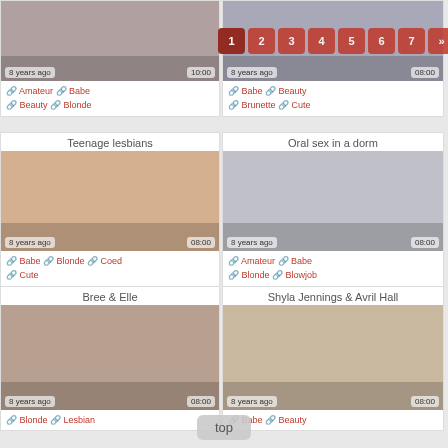[Figure (other): Video thumbnail top-left with overlay badges '8 years ago' and '10:00']
🔗 Amateur 🔗 Babe 🔗 Beauty 🔗 Blonde
[Figure (other): Video thumbnail top-right with overlay badges '8 years ago' and '08:00']
🔗 Babe 🔗 Beauty 🔗 Brunette 🔗 Cute
Teenage lesbians
[Figure (other): Video thumbnail middle-left with overlay badges '8 years ago' and '08:00']
🔗 Babe 🔗 Blonde 🔗 Coed 🔗 Cute
Oral sex in a dorm
[Figure (other): Video thumbnail middle-right with overlay badges '8 years ago' and '08:00']
🔗 Amateur 🔗 Babe 🔗 Blonde 🔗 Blowjob
Bree & Elle
[Figure (other): Video thumbnail bottom-left with overlay badges '8 years ago' and '08:00']
🔗 Blonde 🔗 Lesbian
Shyla Jennings & Avril Hall
[Figure (other): Video thumbnail bottom-right with overlay badges '8 years ago' and '08:00']
🔗 Babe 🔗 Beauty